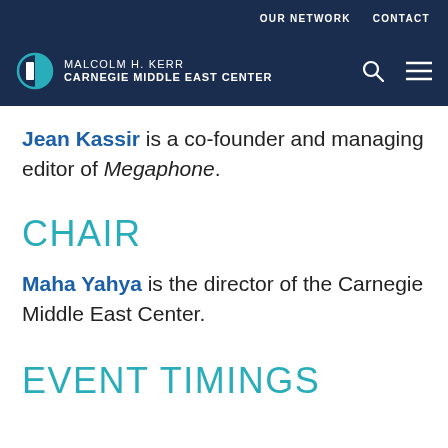OUR NETWORK   CONTACT
[Figure (logo): Malcolm H. Kerr Carnegie Middle East Center logo with half-circle icon, search icon, and hamburger menu icon on dark navy background]
Jean Kassir is a co-founder and managing editor of Megaphone.
CHAIR
Maha Yahya is the director of the Carnegie Middle East Center.
EVENT TIMINGS